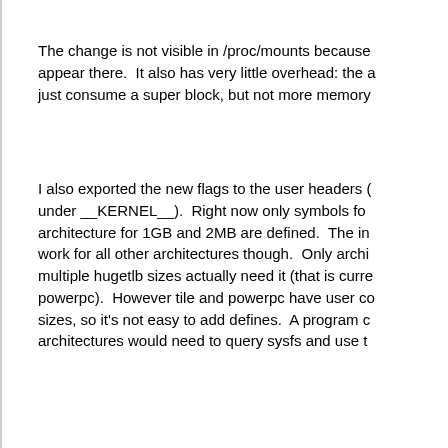The change is not visible in /proc/mounts because appear there.  It also has very little overhead: the a just consume a super block, but not more memory
I also exported the new flags to the user headers ( under __KERNEL__).  Right now only symbols for architecture for 1GB and 2MB are defined.  The in work for all other architectures though.  Only archi multiple hugetlb sizes actually need it (that is curre powerpc).  However tile and powerpc have user co sizes, so it's not easy to add defines.  A program c architectures would need to query sysfs and use t
[akpm@linux-foundation.org: cleanups]
[rientjes@google.com: fix build]
[akpm@linux-foundation.org: checkpatch fixes]
Signed-off-by: Andi Kleen <ak@linux.intel.com>
Cc: Michael Kerrisk <mtk.manpages@gmail.com>
Acked-by: Rik van Riel <riel@redhat.com>
Acked-by: KAMEZAWA Hiroyuki <kamezawa.hiroyu@jp.fujitsu.com>
Cc: Hillf Danton <dhillf@gmail.com>
Signed-off-by: David Rientjes <rientjes@google.com>
Signed-off-by: Andrew Morton <akpm@linux-foundation.org>